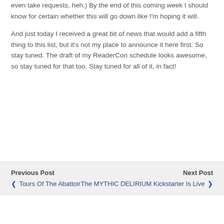even take requests, heh.) By the end of this coming week I should know for certain whether this will go down like I'm hoping it will.
And just today I received a great bit of news that would add a fifth thing to this list, but it's not my place to announce it here first. So stay tuned. The draft of my ReaderCon schedule looks awesome, so stay tuned for that too. Stay tuned for all of it, in fact!
Previous Post | Tours Of The Abattoir | Next Post | The MYTHIC DELIRIUM Kickstarter Is Live